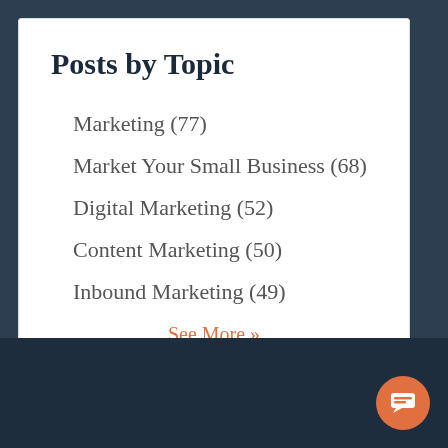Posts by Topic
Marketing (77)
Market Your Small Business (68)
Digital Marketing (52)
Content Marketing (50)
Inbound Marketing (49)
See More »
11
out of
11
Welcome!